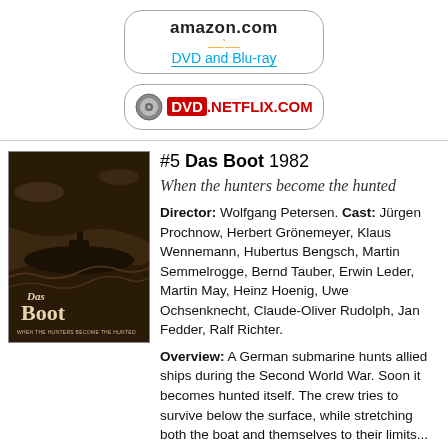[Figure (logo): Amazon.com DVD and Blu-ray button logo]
[Figure (logo): DVD Netflix.com button logo]
#5 Das Boot 1982
When the hunters become the hunted
Director: Wolfgang Petersen. Cast: Jürgen Prochnow, Herbert Grönemeyer, Klaus Wennemann, Hubertus Bengsch, Martin Semmelrogge, Bernd Tauber, Erwin Leder, Martin May, Heinz Hoenig, Uwe Ochsenknecht, Claude-Oliver Rudolph, Jan Fedder, Ralf Richter.
Overview: A German submarine hunts allied ships during the Second World War. Soon it becomes hunted itself. The crew tries to survive below the surface, while stretching both the boat and themselves to their limits...
Genres: Action, Drama, Foreign, History,